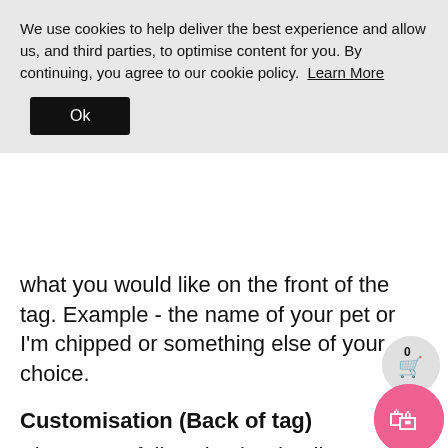We use cookies to help deliver the best experience and allow us, and third parties, to optimise content for you. By continuing, you agree to our cookie policy. Learn More
Ok
what you would like on the front of the tag. Example - the name of your pet or I'm chipped or something else of your choice.
Customisation (Back of tag)
Please carefully write the details you wish to include on the back of your pet tag. This can include your address (please keep address as short as possible) phone number or anything you want to include, we have also included some cute and funny sayings you might also like to use (please see Product photos for examples) .
>